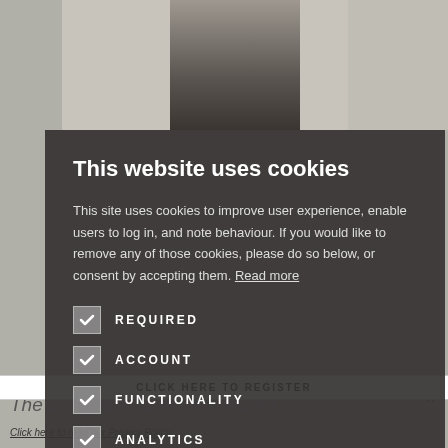[Figure (screenshot): Background photo of a person walking on a street, partially obscured by a cookie consent modal overlay. Below the modal, partially visible italic text reads: '...example, with an indigo coloured' and 'The Edwardian style No. Nichol'. A register button strip shows 'CLICK HERE TO REGISTER'. An X close button is visible at top right of background. Bottom shows 'Click here to read our Privacy Policy' link.]
This website uses cookies
This site uses cookies to improve user experience, enable users to log in, and note behaviour. If you would like to remove any of those cookies, please do so below, or consent by accepting them. Read more
REQUIRED
ACCOUNT
FUNCTIONALITY
ANALYTICS
ACCEPT ALL
DECLINE ALL
Click here to read our Privacy Policy